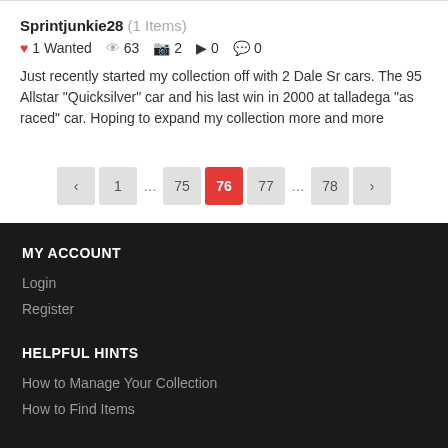Sprintjunkie28 (1 Items)
1 Wanted  63  2  0  0
Just recently started my collection off with 2 Dale Sr cars. The 95 Allstar "Quicksilver" car and his last win in 2000 at talladega "as raced" car. Hoping to expand my collection more and more
< 1 ... 75 76 77 ... 78 >
MY ACCOUNT
Login
Register
HELPFUL HINTS
How to Manage Your Collection
How to Find Items